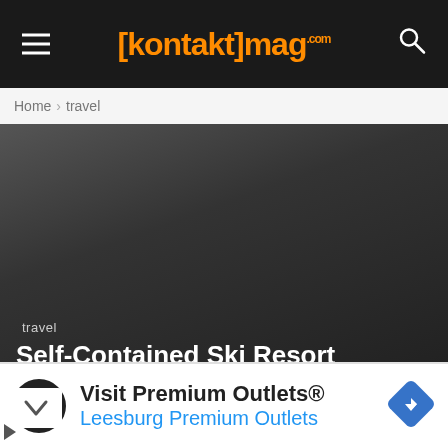[kontakt]mag.com
Home › travel
[Figure (photo): Dark hero image background for travel article about ski resort]
travel
Self-Contained Ski Resort Designed for Sustainability
[Figure (infographic): Advertisement banner: Visit Premium Outlets® / Leesburg Premium Outlets with logo and navigation arrow icon]